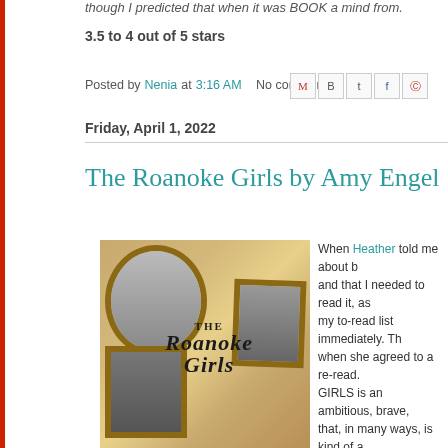though I predicted that when it was BOOK a mind from.
3.5 to 4 out of 5 stars
Posted by Nenia at 3:16 AM   No comments:
Friday, April 1, 2022
The Roanoke Girls by Amy Engel
[Figure (photo): Book cover of The Roanoke Girls by Amy Engel, showing ornate picture frames with black and white photos on a floral wallpaper background, with the book title in bold italic lettering.]
When Heather told me about this book and that I needed to read it, as I put it on my to-read list immediately. The when she agreed to a re-read. ROANOKE GIRLS is an ambitious, brave, that, in many ways, is kind of a bloated Gothic novels of the 6 this book, I kept thinking back mine, like V.C. Andrews's MY Stephen King's DOLORES CL favorite of his books).